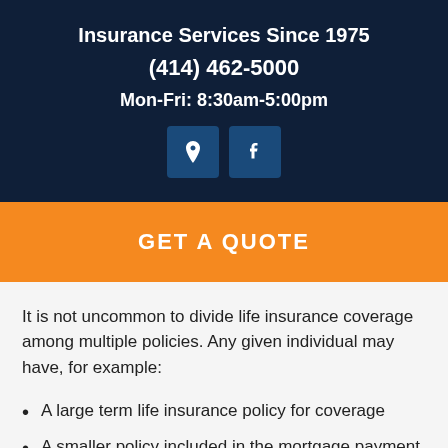Insurance Services Since 1975
(414) 462-5000
Mon-Fri: 8:30am-5:00pm
[Figure (infographic): Two icon buttons: a map pin/location icon and a Facebook icon, both on dark blue square backgrounds]
GET A QUOTE
It is not uncommon to divide life insurance coverage among multiple policies. Any given individual may have, for example:
A large term life insurance policy for coverage
A smaller policy included in the mortgage payment